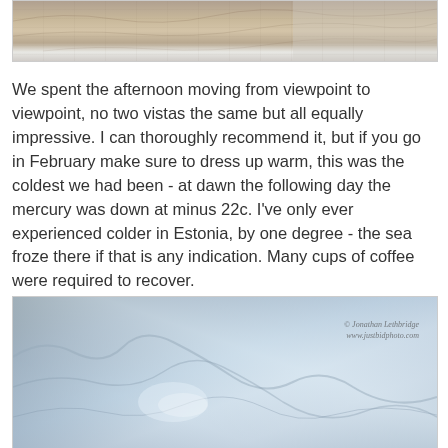[Figure (photo): Top portion of a canyon landscape photo with snow-dusted red rock formations and cliffs]
We spent the afternoon moving from viewpoint to viewpoint, no two vistas the same but all equally impressive. I can thoroughly recommend it, but if you go in February make sure to dress up warm, this was the coldest we had been - at dawn the following day the mercury was down at minus 22c. I've only ever experienced colder in Estonia, by one degree - the sea froze there if that is any indication. Many cups of coffee were required to recover.
[Figure (photo): Aerial or elevated view of a snow-covered canyon landscape with blue-tinted rocky terrain, watermarked with Jonathan Lethbridge / www.justbidphoto.com]